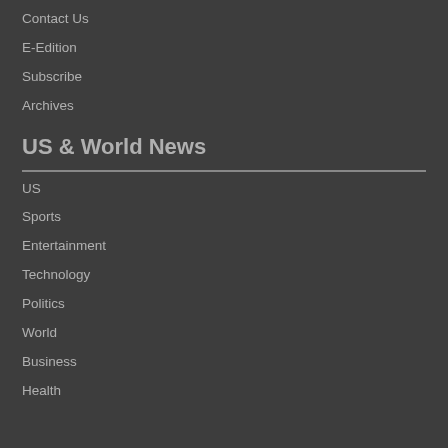Contact Us
E-Edition
Subscribe
Archives
US & World News
US
Sports
Entertainment
Technology
Politics
World
Business
Health